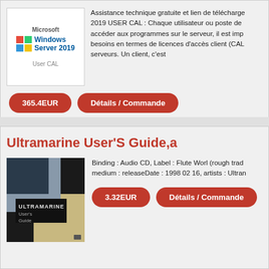[Figure (illustration): Windows Server 2019 User CAL product image with Microsoft logo]
Assistance technique gratuite et lien de télécharge... 2019 USER CAL : Chaque utilisateur ou poste de accéder aux programmes sur le serveur, il est imp besoins en termes de licences d'accès client (CAL serveurs. Un client, c'est
365.4EUR
Détails / Commande
Ultramarine User'S Guide,a
[Figure (photo): Album cover for Ultramarine User's Guide - dark cover with text]
Binding : Audio CD, Label : Flute Worl (rough trad medium : releaseDate : 1998 02 16, artists : Ultran
3.32EUR
Détails / Commande